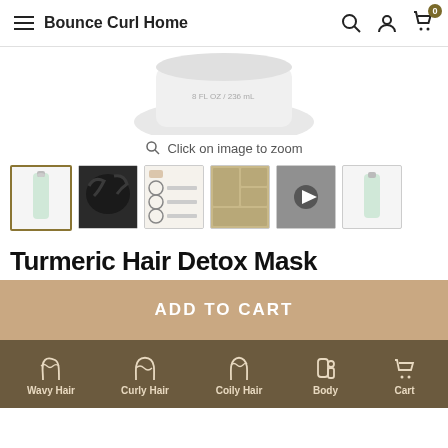Bounce Curl Home
[Figure (photo): Partial top view of a hair product bottle with white cap]
Click on image to zoom
[Figure (photo): Thumbnail gallery of 6 product images for Turmeric Hair Detox Mask]
Turmeric Hair Detox Mask
ADD TO CART
Wavy Hair  Curly Hair  Coily Hair  Body  Cart